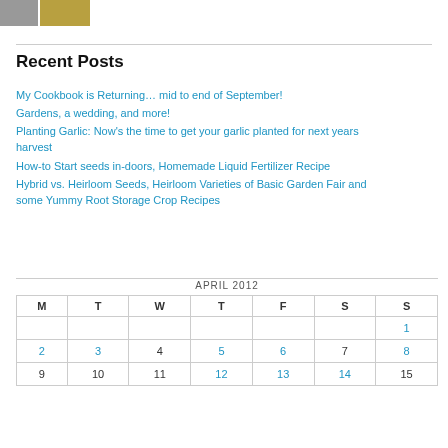[Figure (photo): Two small thumbnail images at top: a photo and a decorative geometric pattern logo]
Recent Posts
My Cookbook is Returning… mid to end of September!
Gardens, a wedding, and more!
Planting Garlic: Now's the time to get your garlic planted for next years harvest
How-to Start seeds in-doors, Homemade Liquid Fertilizer Recipe
Hybrid vs. Heirloom Seeds, Heirloom Varieties of Basic Garden Fair and some Yummy Root Storage Crop Recipes
| M | T | W | T | F | S | S |
| --- | --- | --- | --- | --- | --- | --- |
|  |  |  |  |  |  | 1 |
| 2 | 3 | 4 | 5 | 6 | 7 | 8 |
| 9 | 10 | 11 | 12 | 13 | 14 | 15 |